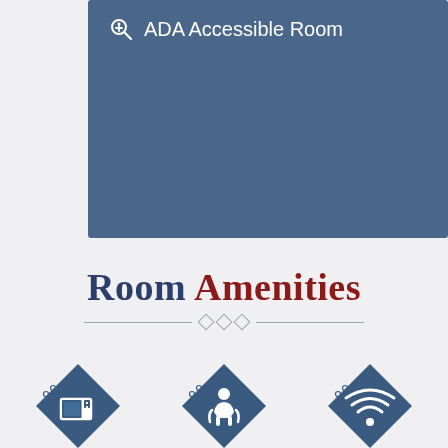ADA Accessible Room
Room Amenities
[Figure (infographic): Three amenity icons: Refrigerator & microwave in each unit (blue diamond with microwave icon), Daily maid service (blue diamond with chair/maid icon), Free Wi-Fi (blue diamond with wifi icon)]